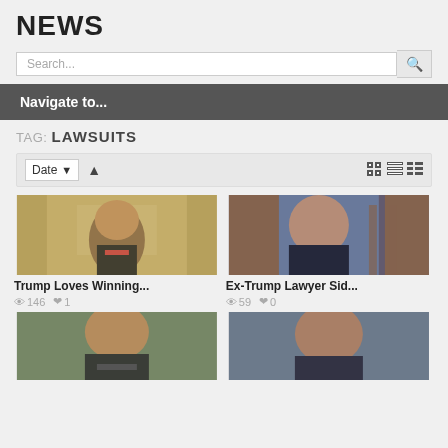NEWS
Search...
Navigate to...
TAG: LAWSUITS
Date (sort controls and view icons)
[Figure (photo): Photo of Trump in the Oval Office with gold curtains]
Trump Loves Winning...
146 views, 1 like
[Figure (photo): Photo of ex-Trump lawyer Sidney Powell speaking at a podium with American flags]
Ex-Trump Lawyer Sid...
59 views, 0 likes
[Figure (photo): Photo of Trump speaking outdoors]
[Figure (photo): Photo of Rudy Giuliani speaking]